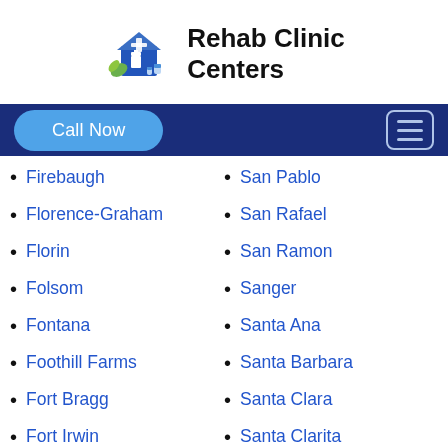Rehab Clinic Centers
Firebaugh
San Pablo
Florence-Graham
San Rafael
Florin
San Ramon
Folsom
Sanger
Fontana
Santa Ana
Foothill Farms
Santa Barbara
Fort Bragg
Santa Clara
Fort Irwin
Santa Clarita
Fortuna
Santa Cruz
Foster City
Santa Fe Springs
Fountain Valley
Santa Maria